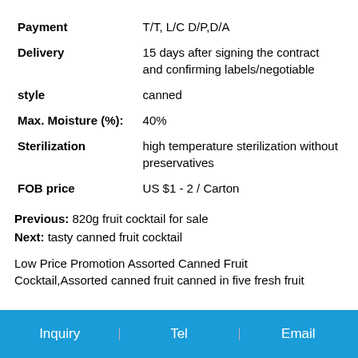| Payment | T/T, L/C D/P,D/A |
| Delivery | 15 days after signing the contract and confirming labels/negotiable |
| style | canned |
| Max. Moisture (%): | 40% |
| Sterilization | high temperature sterilization without preservatives |
| FOB price | US $1 - 2 / Carton |
Previous: 820g fruit cocktail for sale
Next: tasty canned fruit cocktail
Low Price Promotion Assorted Canned Fruit Cocktail,Assorted canned fruit canned in five fresh fruit
Inquiry | Tel | Email